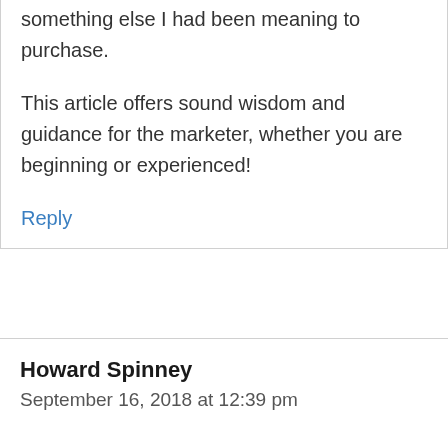something else I had been meaning to purchase.
This article offers sound wisdom and guidance for the marketer, whether you are beginning or experienced!
Reply
Howard Spinney
September 16, 2018 at 12:39 pm